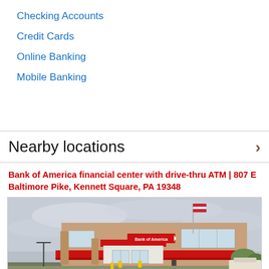Checking Accounts
Credit Cards
Online Banking
Mobile Banking
Nearby locations
Bank of America financial center with drive-thru ATM | 807 E Baltimore Pike, Kennett Square, PA 19348
[Figure (photo): Exterior photo of a Bank of America financial center building with brick facade, red awning, Bank of America signage, American flag, parking lot, and overcast sky.]